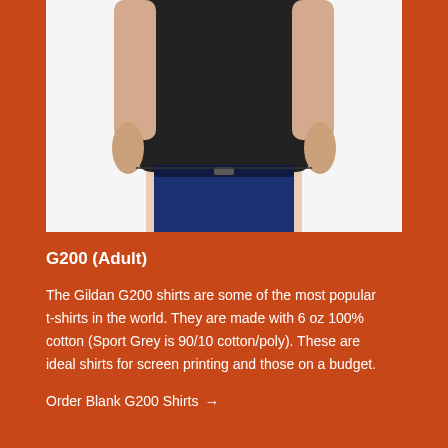[Figure (photo): A man wearing a black Gildan G200 t-shirt and dark jeans, cropped from chest to mid-thigh, shown against a white background.]
G200 (Adult)
The Gildan G200 shirts are some of the most popular t-shirts in the world. They are made with 6 oz 100% cotton (Sport Grey is 90/10 cotton/poly). These are ideal shirts for screen printing and those on a budget.
Order Blank G200 Shirts →